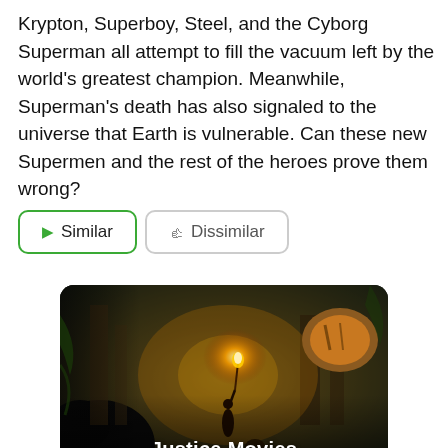Krypton, Superboy, Steel, and the Cyborg Superman all attempt to fill the vacuum left by the world's greatest champion. Meanwhile, Superman's death has also signaled to the universe that Earth is vulnerable. Can these new Supermen and the rest of the heroes prove them wrong?
[Figure (screenshot): Two buttons: a green-bordered 'Similar' button with a green play arrow icon, and a gray-bordered 'Dissimilar' button with a gray thumbs-down icon.]
[Figure (photo): Movie thumbnail showing a jungle scene with a boy holding a torch, facing large animals in ruins. Caption reads 'Justice Movies'.]